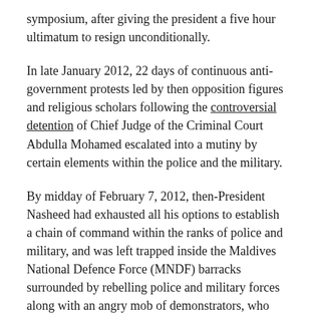symposium, after giving the president a five hour ultimatum to resign unconditionally.
In late January 2012, 22 days of continuous anti-government protests led by then opposition figures and religious scholars following the controversial detention of Chief Judge of the Criminal Court Abdulla Mohamed escalated into a mutiny by certain elements within the police and the military.
By midday of February 7, 2012, then-President Nasheed had exhausted all his options to establish a chain of command within the ranks of police and military, and was left trapped inside the Maldives National Defence Force (MNDF) barracks surrounded by rebelling police and military forces along with an angry mob of demonstrators, who had been armed by the rebelling security services.